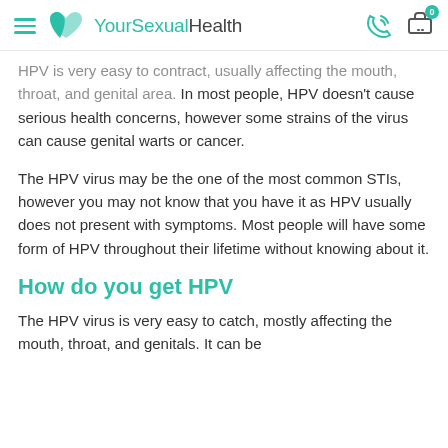YourSexualHealth
HPV is very easy to contract, usually affecting the mouth, throat, and genital area. In most people, HPV doesn't cause serious health concerns, however some strains of the virus can cause genital warts or cancer.
The HPV virus may be the one of the most common STIs, however you may not know that you have it as HPV usually does not present with symptoms. Most people will have some form of HPV throughout their lifetime without knowing about it.
How do you get HPV
The HPV virus is very easy to catch, mostly affecting the mouth, throat, and genitals. It can be